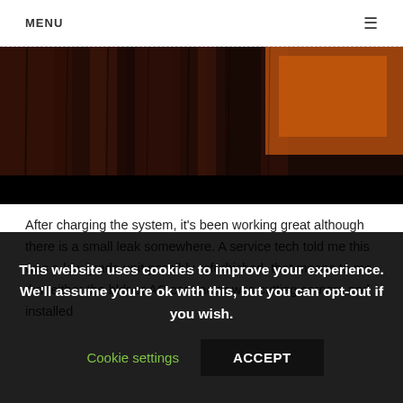MENU ☰
[Figure (photo): Dark reddish-brown textured surface with orange patch visible in upper right area, with a black bar at the bottom of the image.]
After charging the system, it's been working great although there is a small leak somewhere. A service tech told me this was a low grade unit possibly refurbished, that means to me that either the bldr or AC contractor was cutting corners and installed
This website uses cookies to improve your experience. We'll assume you're ok with this, but you can opt-out if you wish.
Cookie settings   ACCEPT